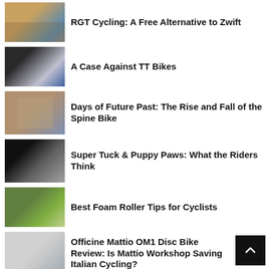[Figure (photo): Thumbnail photo of cycling/outdoor scene for RGT Cycling article]
RGT Cycling: A Free Alternative to Zwift
[Figure (photo): Thumbnail photo of a TT bike with rider]
A Case Against TT Bikes
[Figure (photo): Thumbnail photo of a bicycle frame (spine bike)]
Days of Future Past: The Rise and Fall of the Spine Bike
[Figure (photo): Thumbnail photo of a cyclist in super tuck position]
Super Tuck & Puppy Paws: What the Riders Think
[Figure (photo): Thumbnail photo of a cyclist with foam roller]
Best Foam Roller Tips for Cyclists
[Figure (photo): Thumbnail photo of Officine Mattio OM1 disc bike]
Officine Mattio OM1 Disc Bike Review: Is Mattio Workshop Saving Italian Cycling?